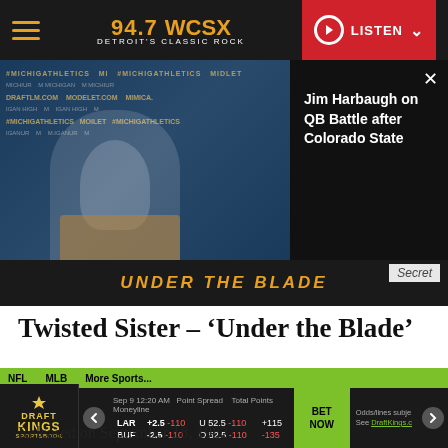94.7 WCSX – Detroit's Classic Rock | LISTEN
[Figure (screenshot): Video thumbnail of Jim Harbaugh at a press conference with Michigan Athletics branding backdrop, overlaid with text panel: 'Jim Harbaugh on QB Battle after Colorado State']
[Figure (infographic): Advertisement banner for 'Under the Blade' with dark background and gold/orange stylized text. 'Secret' label partially visible.]
Twisted Sister – 'Under the Blade'
Share
Released on September 18, 1982.
NFL  MLB  More Sports...  DraftKings Sportsbook: LAR +2.5 -110 vs BUF -2.5 -110 | U 52.5 -110 / O 52.5 -110 | +115 / -135 | BET NOW | Odds/lines subject to change. See DraftKings.com